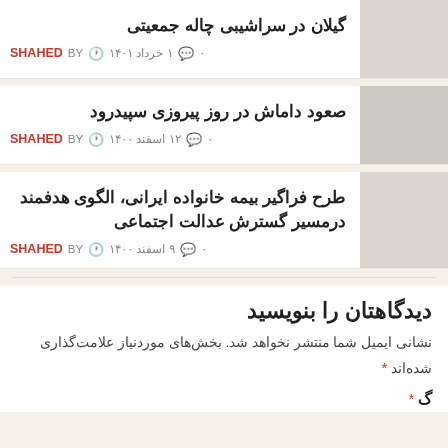گیلان در سراشیبی چاله جمعیتی
BY SHAHED · ۱ خرداد ۱۴۰۱ · ۰
صعود داماش در روز پیروزی سپیدرود
BY SHAHED · ۱۲ اسفند ۱۴۰۰ · ۰
طرح فراگیر بیمه خانواده ایرانی، الگوی هدفمند درمسیر گسترش عدالت اجتماعی
BY SHAHED · ۹ اسفند ۱۴۰۰ · ۰
دیدگاهتان را بنویسید
نشانی ایمیل شما منتشر نخواهد شد. بخش‌های موردنیاز علامت‌گذاری شده‌اند *
گ